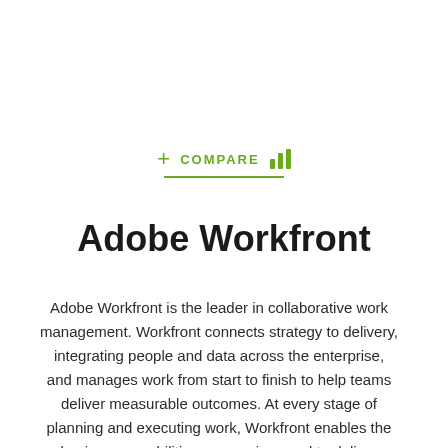+ COMPARE [bar chart icon]
Adobe Workfront
Adobe Workfront is the leader in collaborative work management. Workfront connects strategy to delivery, integrating people and data across the enterprise, and manages work from start to finish to help teams deliver measurable outcomes. At every stage of planning and executing work, Workfront enables the business capabilities companies need to deliver exceptional